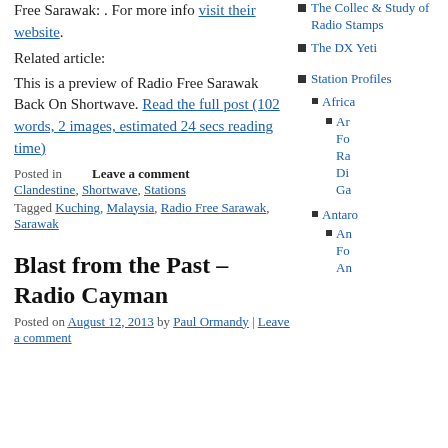Free Sarawak: . For more info visit their website.
Related article:
This is a preview of Radio Free Sarawak Back On Shortwave. Read the full post (102 words, 2 images, estimated 24 secs reading time)
Posted in    Leave a comment
Clandestine, Shortwave, Stations
Tagged Kuching, Malaysia, Radio Free Sarawak, Sarawak
Blast from the Past – Radio Cayman
Posted on August 12, 2013 by Paul Ormandy | Leave a comment
The Collec & Study of Radio Stamps
The DX Yeti
Station Profiles
Africa
An Fo Ra Di Ga
Antaro
An Fo An